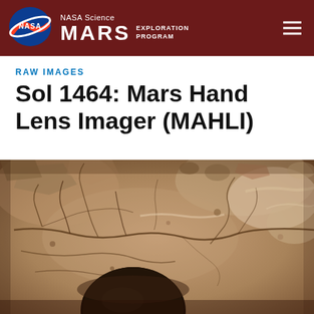NASA Science MARS EXPLORATION PROGRAM
RAW IMAGES
Sol 1464: Mars Hand Lens Imager (MAHLI)
[Figure (photo): Close-up MAHLI image of Martian rock surface showing cracked, fractured sedimentary rock with veins and a dark circular element (likely the MAHLI calibration target or rover part) visible in the lower center. Sepia/rust tones.]